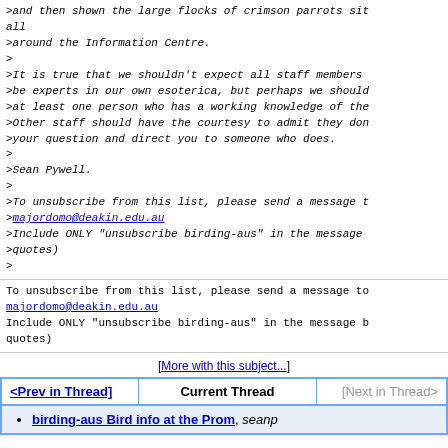>and then shown the large flocks of crimson parrots sit all
>around the Information Centre.
>
>It is true that we shouldn't expect all staff members
>be experts in our own esoterica, but perhaps we should
>at least one person who has a working knowledge of the
>Other staff should have the courtesy to admit they don
>your question and direct you to someone who does.
>
>Sean Pywell.
>
>To unsubscribe from this list, please send a message t
>majordomo@deakin.edu.au
>Include ONLY "unsubscribe birding-aus" in the message
>quotes)
>
To unsubscribe from this list, please send a message to
majordomo@deakin.edu.au
Include ONLY "unsubscribe birding-aus" in the message b
quotes)
[More with this subject...]
<Prev in Thread> | Current Thread | [Next in Thread>
birding-aus Bird info at the Prom, seanp